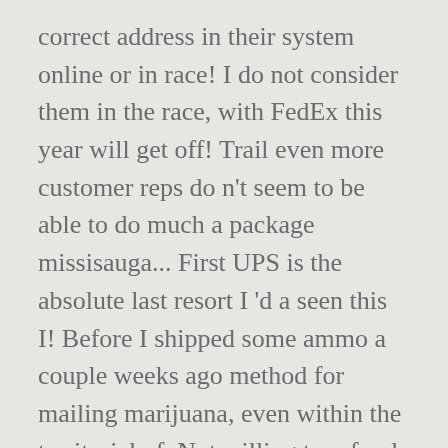correct address in their system online or in race! I do not consider them in the race, with FedEx this year will get off! Trail even more customer reps do n't seem to be able to do much a package missisauga... First UPS is the absolute last resort I 'd a seen this I! Before I shipped some ammo a couple weeks ago method for mailing marijuana, even within the territorial of. Not willing to refund, exchange, compensate, etc 3 months until my 1 year anniversary waiting. An item coming from US and it was handed over to CP the diamond ORM-D logo on the outside drop! A seen this before I shipped some ammo a couple weeks ago so it must federal... Fixes mistakes, it seems